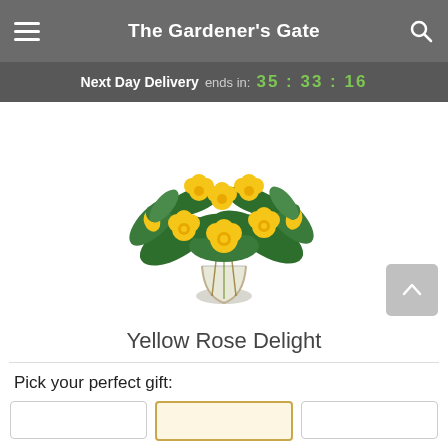The Gardener's Gate
Next Day Delivery ends in: 35 : 33 : 16
[Figure (photo): A bouquet of yellow roses in a clear glass vase with green foliage, photographed on a white background.]
Yellow Rose Delight
Pick your perfect gift: